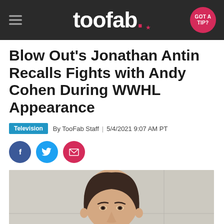toofab. GOT A TIP?
Blow Out's Jonathan Antin Recalls Fights with Andy Cohen During WWHL Appearance
Television  By TooFab Staff | 5/4/2021 9:07 AM PT
[Figure (other): Social share buttons: Facebook (blue circle), Twitter (light blue circle), Email (pink/red circle)]
[Figure (photo): Photo of a man (Jonathan Antin) with dark hair, photographed against a light tile/wall background]